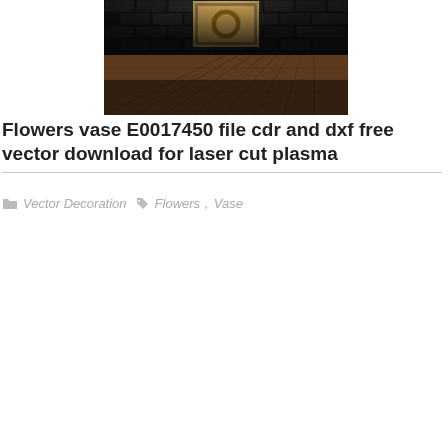[Figure (photo): A wooden floor scene with a dark brick wall background and a framed artwork hanging on the wall. The scene is dramatically lit, showing wood plank flooring in perspective.]
Flowers vase E0017450 file cdr and dxf free vector download for laser cut plasma
Vector Decoration   Flowers, Vase